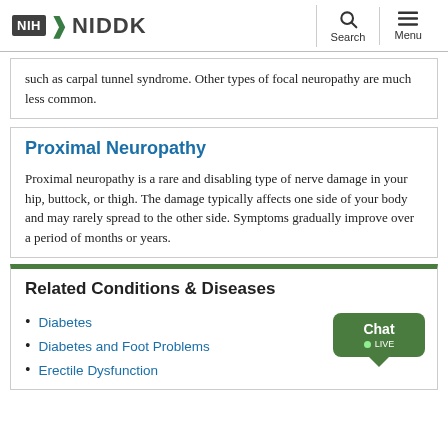NIH NIDDK
such as carpal tunnel syndrome. Other types of focal neuropathy are much less common.
Proximal Neuropathy
Proximal neuropathy is a rare and disabling type of nerve damage in your hip, buttock, or thigh. The damage typically affects one side of your body and may rarely spread to the other side. Symptoms gradually improve over a period of months or years.
Related Conditions & Diseases
Diabetes
Diabetes and Foot Problems
Erectile Dysfunction